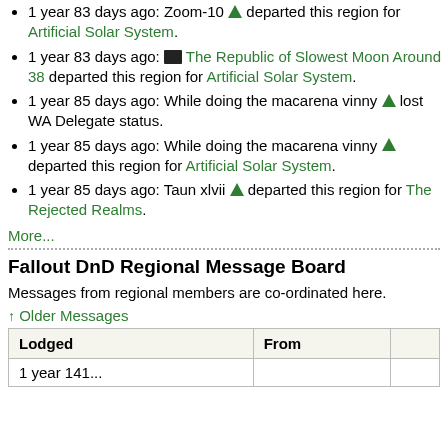1 year 83 days ago: Zoom-10 departed this region for Artificial Solar System.
1 year 83 days ago: The Republic of Slowest Moon Around 38 departed this region for Artificial Solar System.
1 year 85 days ago: While doing the macarena vinny lost WA Delegate status.
1 year 85 days ago: While doing the macarena vinny departed this region for Artificial Solar System.
1 year 85 days ago: Taun xlvii departed this region for The Rejected Realms.
More...
Fallout DnD Regional Message Board
Messages from regional members are co-ordinated here.
↑ Older Messages
| Lodged | From |  |
| --- | --- | --- |
| 1 year 141... |  |  |